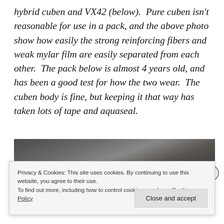hybrid cuben and VX42 (below).  Pure cuben isn't reasonable for use in a pack, and the above photo show how easily the strong reinforcing fibers and weak mylar film are easily separated from each other.  The pack below is almost 4 years old, and has been a good test for how the two wear.  The cuben body is fine, but keeping it that way has taken lots of tape and aquaseal.
[Figure (photo): A dark textured fabric/material surface, appearing to be cuben fiber or similar technical fabric, shown in close-up.]
Privacy & Cookies: This site uses cookies. By continuing to use this website, you agree to their use.
To find out more, including how to control cookies, see here: Cookie Policy
Close and accept